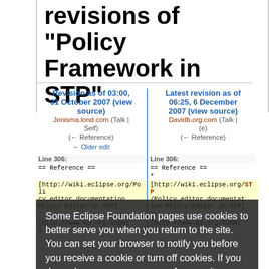revisions of "Policy Framework in STP"
Revision as of 03:00, 31 October 2007 (view source)
Latest revision as of 06:25, 6 December 2007 (view source)
Jonisma.lond.com (Talk | Self) (← Reference)
Davidb.org.com (Talk | (e) (← Reference)
← Older edit
Line 306:
Line 306:
== Reference ==
== Reference ==
* [http://wiki.eclipse.org/Policy_editor_documentation Policy Editor in STP]
* [http://wiki.eclipse.org/STP/Policy_editor_documentation Policy Editor in STP]
* [http://www.w3.org/Submis...
* [http://www.w3.org/Submis...
Some Eclipse Foundation pages use cookies to better serve you when you return to the site. You can set your browser to notify you before you receive a cookie or turn off cookies. If you do so, however, some areas of some sites may not function properly. To read Eclipse Foundation Privacy Policy click here.
Decline
Allow cookies